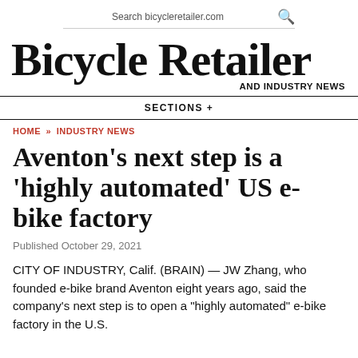Search bicycleretailer.com
Bicycle Retailer and INDUSTRY NEWS
SECTIONS +
HOME » INDUSTRY NEWS
Aventon's next step is a 'highly automated' US e-bike factory
Published October 29, 2021
CITY OF INDUSTRY, Calif. (BRAIN) — JW Zhang, who founded e-bike brand Aventon eight years ago, said the company's next step is to open a "highly automated" e-bike factory in the U.S.